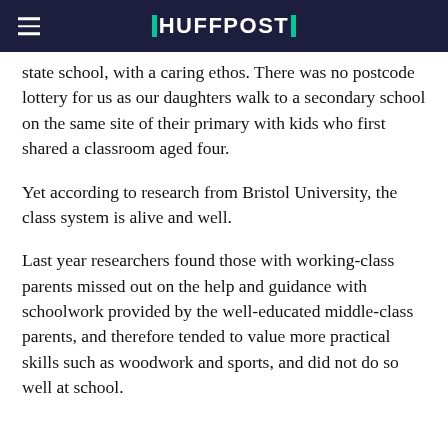HUFFPOST
state school, with a caring ethos. There was no postcode lottery for us as our daughters walk to a secondary school on the same site of their primary with kids who first shared a classroom aged four.
Yet according to research from Bristol University, the class system is alive and well.
Last year researchers found those with working-class parents missed out on the help and guidance with schoolwork provided by the well-educated middle-class parents, and therefore tended to value more practical skills such as woodwork and sports, and did not do so well at school.